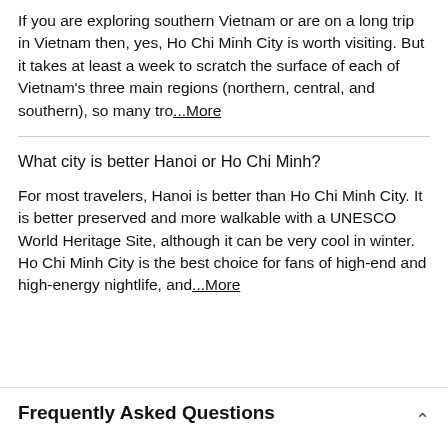If you are exploring southern Vietnam or are on a long trip in Vietnam then, yes, Ho Chi Minh City is worth visiting. But it takes at least a week to scratch the surface of each of Vietnam's three main regions (northern, central, and southern), so many tro...More
What city is better Hanoi or Ho Chi Minh?
For most travelers, Hanoi is better than Ho Chi Minh City. It is better preserved and more walkable with a UNESCO World Heritage Site, although it can be very cool in winter. Ho Chi Minh City is the best choice for fans of high-end and high-energy nightlife, and...More
Frequently Asked Questions